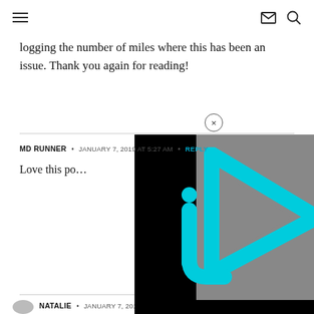Navigation header with hamburger menu, mail icon, and search icon
logging the number of miles where this has been an issue. Thank you again for reading!
MD RUNNER • JANUARY 7, 2019 AT 5:27 AM • REPLY
Love this po…
[Figure (screenshot): Video player overlay with gray background and cyan triangular play button logo, with black borders on left and bottom sides, and a close (×) button in the top area]
NATALIE • JANUARY 7, 2019 AT 5:28 AM • REPLY